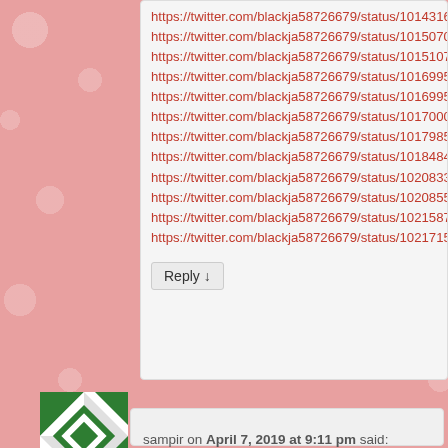https://twitter.com/blackja58726679/status/101431650088894197
https://twitter.com/blackja58726679/status/101507040853649490
https://twitter.com/blackja58726679/status/101510702190803335
https://twitter.com/blackja58726679/status/101699540676331111
https://twitter.com/blackja58726679/status/101699540676331111
https://twitter.com/blackja58726679/status/101700055687792223
https://twitter.com/blackja58726679/status/101798596985158886
https://twitter.com/blackja58726679/status/101848495183287910
https://twitter.com/blackja58726679/status/102083369291305369
https://twitter.com/blackja58726679/status/102085578119163494
https://twitter.com/blackja58726679/status/102158713204797038
https://twitter.com/blackja58726679/status/102171530892125388
Reply ↓
[Figure (illustration): Green and white geometric quilt-pattern avatar for user sampir]
sampir on April 7, 2019 at 9:11 pm said: